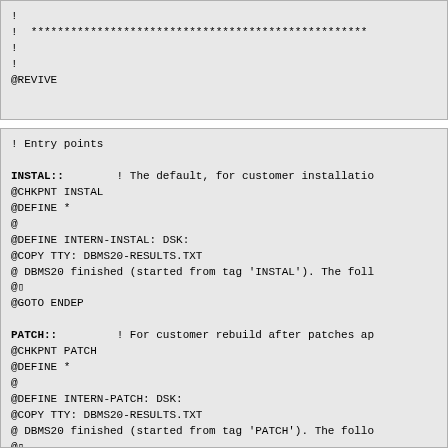!
! ****************************************************
!
!
@REVIVE
! Entry points

INSTAL::        ! The default, for customer installation
@CHKPNT INSTAL
@DEFINE *
@
@DEFINE INTERN-INSTAL: DSK:
@COPY TTY: DBMS20-RESULTS.TXT
@ DBMS20 finished (started from tag 'INSTAL'). The foll
@
@GOTO ENDEP

PATCH::         ! For customer rebuild after patches ap
@CHKPNT PATCH
@DEFINE *
@
@DEFINE INTERN-PATCH: DSK:
@COPY TTY: DBMS20-RESULTS.TXT
@ DBMS20 finished (started from tag 'PATCH'). The follo
@
@GOTO ENDEP